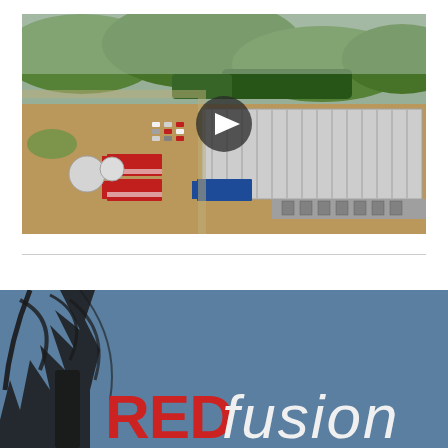[Figure (photo): Aerial drone photograph of a large industrial warehouse/distribution facility with a corrugated metal roof, surrounded by red and white semi-trucks, construction area with bare earth, and green hills with trees in the background. A circular play button overlay is centered on the image indicating it is a video thumbnail.]
[Figure (photo): Partial view of a banner image showing tree branches silhouetted against a blue sky, with a 'RED fusion' logo in the lower portion. RED is in bold red text and 'fusion' is in italic light white/grey text.]